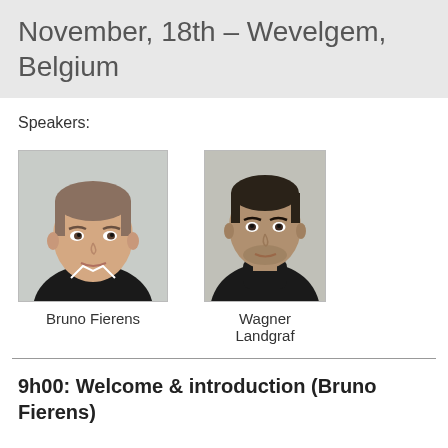November, 18th – Wevelgem, Belgium
Speakers:
[Figure (photo): Headshot photo of Bruno Fierens, a middle-aged man with light hair wearing a dark jacket]
Bruno Fierens
[Figure (photo): Headshot photo of Wagner Landgraf, a man with short dark hair wearing a dark turtleneck]
Wagner Landgraf
9h00: Welcome & introduction (Bruno Fierens)